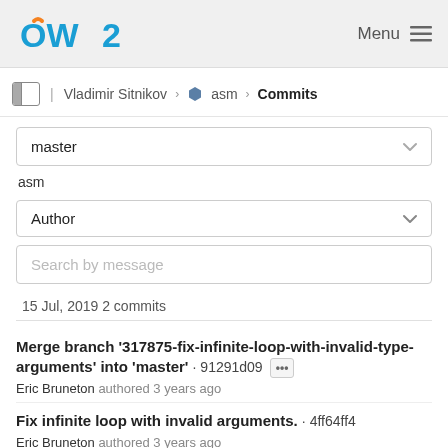OW2  Menu
Vladimir Sitnikov › asm › Commits
master
asm
Author
Search by message
15 Jul, 2019 2 commits
Merge branch '317875-fix-infinite-loop-with-invalid-type-arguments' into 'master' · 91291d09 ··· Eric Bruneton authored 3 years ago
Fix infinite loop with invalid arguments. · 4ff64ff4 Eric Bruneton authored 3 years ago